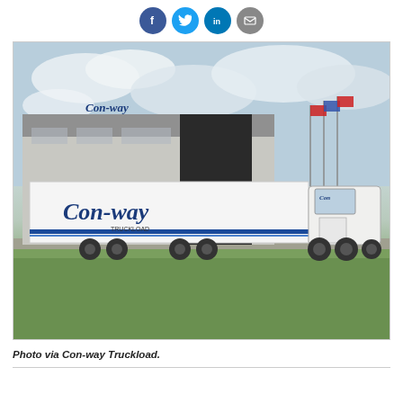[Figure (other): Social media sharing icons: Facebook (blue), Twitter (light blue), LinkedIn (blue), Email (gray)]
[Figure (photo): A white Con-way Truckload semi-truck and trailer parked near a large commercial building with the Con-way logo. Flags are visible in the background. Green lawn and overcast sky.]
Photo via Con-way Truckload.